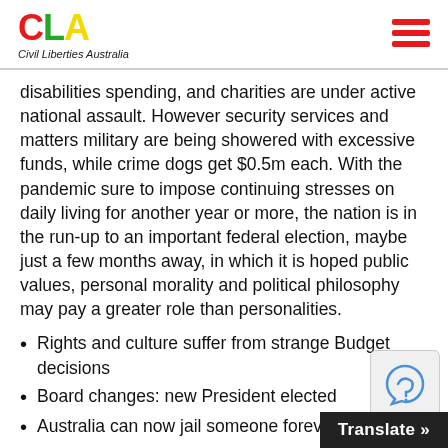CLA - Civil Liberties Australia
disabilities spending, and charities are under active national assault. However security services and matters military are being showered with excessive funds, while crime dogs get $0.5m each. With the pandemic sure to impose continuing stresses on daily living for another year or more, the nation is in the run-up to an important federal election, maybe just a few months away, in which it is hoped public values, personal morality and political philosophy may pay a greater role than personalities.
Rights and culture suffer from strange Budget decisions
Board changes: new President elected
Australia can now jail someone forever
Show trials result from political p...